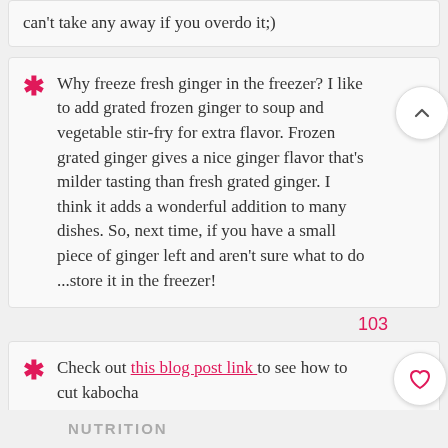can't take any away if you overdo it;)
Why freeze fresh ginger in the freezer? I like to add grated frozen ginger to soup and vegetable stir-fry for extra flavor. Frozen grated ginger gives a nice ginger flavor that's milder tasting than fresh grated ginger. I think it adds a wonderful addition to many dishes. So, next time, if you have a small piece of ginger left and aren't sure what to do ...store it in the freezer!
Check out this blog post link to see how to cut kabocha
NUTRITION